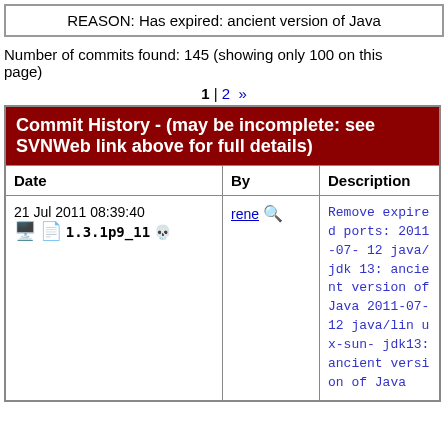REASON: Has expired: ancient version of Java
Number of commits found: 145 (showing only 100 on this page)
1 | 2 »
| Date | By | Description |
| --- | --- | --- |
| 21 Jul 2011 08:39:40  [icons]  1.3.1p9_11 [skull] | rene [magnify] | Remove expired ports:
2011-07-12 java/jdk13: ancient version of Java 2011-07-12 java/linux-sun-jdk13: ancient version of Java |